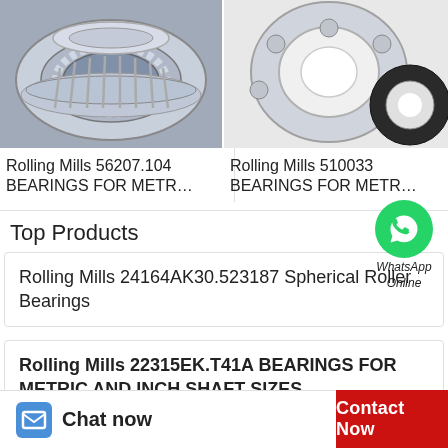[Figure (photo): Photo of Rolling Mills tapered roller bearing components, silver metallic, on blue-gray background]
[Figure (photo): Photo of Rolling Mills ball bearing and ring seals, gray metallic and black rubber, on white background]
Rolling Mills 56207.104 BEARINGS FOR METR…
Rolling Mills 510033 BEARINGS FOR METR…
Top Products
[Figure (logo): WhatsApp green circle icon with phone handset]
WhatsApp Online
Rolling Mills 24164AK30.523187 Spherical Roller Bearings
Rolling Mills 22315EK.T41A BEARINGS FOR METRIC AND INCH SHAFT SIZES
Chat now   Contact Now